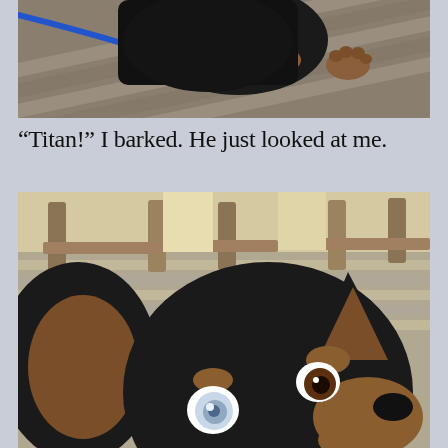[Figure (photo): Close-up photo of a black and tan dog (Miniature Pinscher) on a wooden deck, with a blue leash visible, viewed from above showing the dog's back and paw on deck boards.]
“Titan!” I barked. He just looked at me.
[Figure (photo): Close-up photo of a black and tan Miniature Pinscher dog named Titan looking up at the camera with large expressive eyes, one eye appearing blue/cloudy, on a wooden deck with benches visible in the background.]